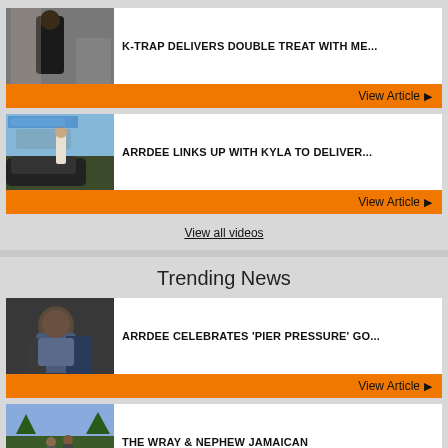[Figure (photo): K-Trap music video thumbnail, person in black outfit]
K-TRAP DELIVERS DOUBLE TREAT WITH ME...
View Article ▶
[Figure (photo): ArrDee links up with Kyla thumbnail, person on vehicle outdoors]
ARRDEE LINKS UP WITH KYLA TO DELIVER...
View Article ▶
View all videos
Trending News
[Figure (photo): ArrDee Pier Pressure thumbnail, close up portrait]
ARRDEE CELEBRATES 'PIER PRESSURE' GO...
View Article ▶
[Figure (photo): Wray & Nephew Jamaican event thumbnail, outdoor scene]
THE WRAY & NEPHEW JAMAICAN